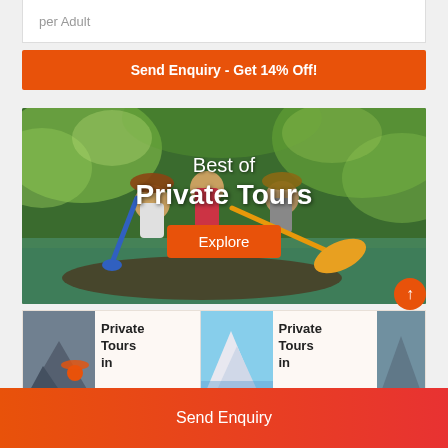per Adult
Send Enquiry - Get 14% Off!
[Figure (photo): People kayaking in a green tropical river. Text overlay reads 'Best of Private Tours' with an orange Explore button.]
[Figure (photo): Thumbnail image of mountain with paraglider]
Private Tours in
[Figure (photo): Thumbnail image of snowy mountain landscape]
Private Tours in
Send Enquiry